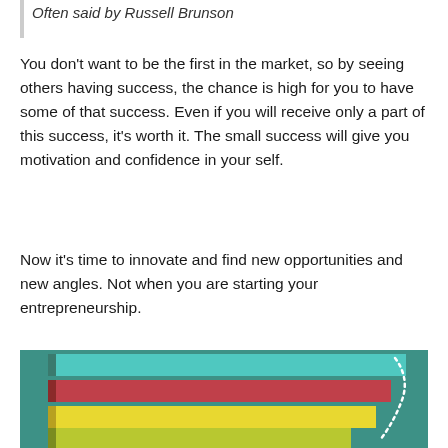Often said by Russell Brunson
You don't want to be the first in the market, so by seeing others having success, the chance is high for you to have some of that success. Even if you will receive only a part of this success, it's worth it. The small success will give you motivation and confidence in your self.
Now it's time to innovate and find new opportunities and new angles. Not when you are starting your entrepreneurship.
[Figure (bar-chart): Horizontal bar chart with teal/green background showing 4 colored bars (teal, red/crimson, yellow, yellow-green) partially visible, with a dotted white curved line on the right side]